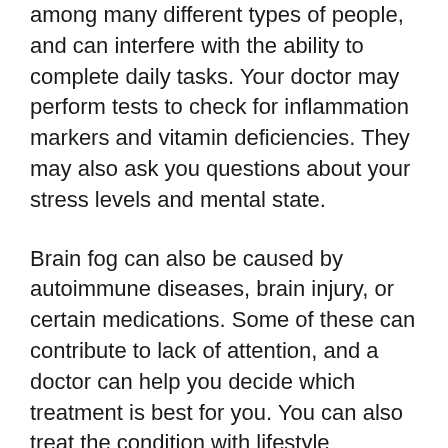among many different types of people, and can interfere with the ability to complete daily tasks. Your doctor may perform tests to check for inflammation markers and vitamin deficiencies. They may also ask you questions about your stress levels and mental state.
Brain fog can also be caused by autoimmune diseases, brain injury, or certain medications. Some of these can contribute to lack of attention, and a doctor can help you decide which treatment is best for you. You can also treat the condition with lifestyle changes. Your doctor can help you determine if your medication is affecting your ability to focus.
Vitamin B12 deficiency
You might experience brain fog...